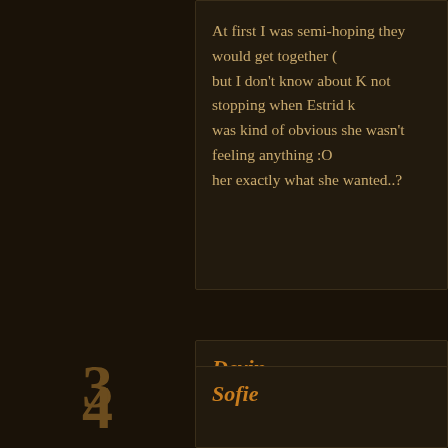At first I was semi-hoping they would get together (but I don't know about K not stopping when Estrid k was kind of obvious she wasn't feeling anything :O her exactly what she wanted..?
3
Devin
November 29, 2008 – 06:41 AM
Wow this was so intense, I've never really liked Bre have a love affair.
Is this a hint of foreshadowing? "“You will come to
“Your next-born,” he corrected.”
4
Sofie